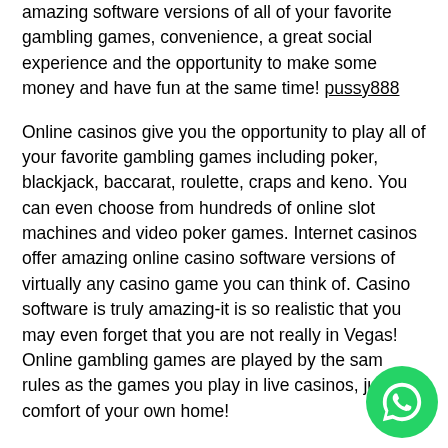amazing software versions of all of your favorite gambling games, convenience, a great social experience and the opportunity to make some money and have fun at the same time! pussy888
Online casinos give you the opportunity to play all of your favorite gambling games including poker, blackjack, baccarat, roulette, craps and keno. You can even choose from hundreds of online slot machines and video poker games. Internet casinos offer amazing online casino software versions of virtually any casino game you can think of. Casino software is truly amazing-it is so realistic that you may even forget that you are not really in Vegas! Online gambling games are played by the same rules as the games you play in live casinos, just the comfort of your own home!
[Figure (logo): WhatsApp button icon, green circle with white phone handset logo, bottom right corner]